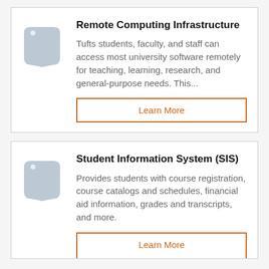Remote Computing Infrastructure
Tufts students, faculty, and staff can access most university software remotely for teaching, learning, research, and general-purpose needs. This...
Learn More
Student Information System (SIS)
Provides students with course registration, course catalogs and schedules, financial aid information, grades and transcripts, and more.
Learn More